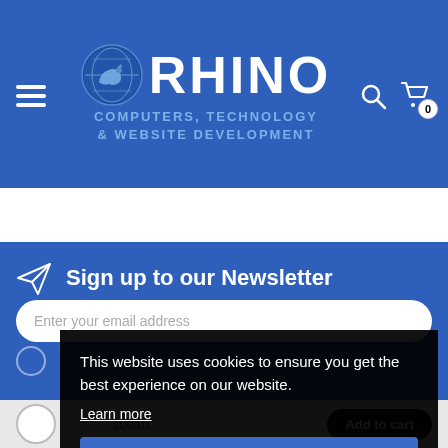[Figure (screenshot): Rhino Computers Technology & Website Development website header with blue background, hamburger menu, globe+rhino logo, RHINO text, search icon, and cart icon with 0 badge]
Sign up to our Newsletter
Enter your email address
[Figure (screenshot): Cookie consent popup overlay with dark background reading: This website uses cookies to ensure you get the best experience on our website. Learn more. Got it! button in blue.]
This website uses cookies to ensure you get the best experience on our website.
Learn more
Got it!